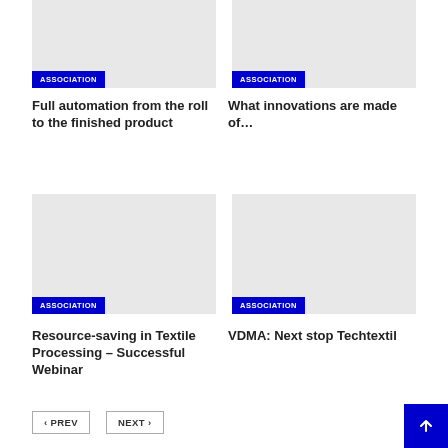[Figure (photo): Gray placeholder image with ASSOCIATION badge]
ASSOCIATION
Full automation from the roll to the finished product
[Figure (photo): Gray placeholder image with ASSOCIATION badge]
ASSOCIATION
What innovations are made of…
[Figure (photo): Gray placeholder image with ASSOCIATION badge]
ASSOCIATION
Resource-saving in Textile Processing – Successful Webinar
[Figure (photo): Gray placeholder image with ASSOCIATION badge]
ASSOCIATION
VDMA: Next stop Techtextil
‹ PREV
NEXT ›